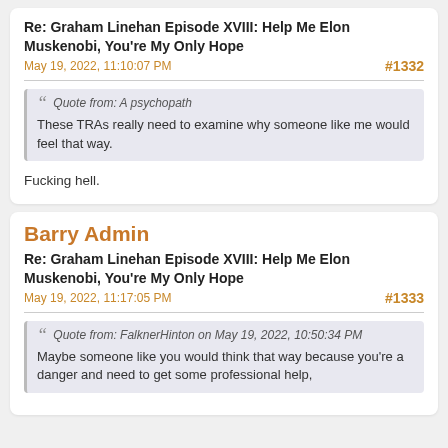Re: Graham Linehan Episode XVIII: Help Me Elon Muskenobi, You're My Only Hope
May 19, 2022, 11:10:07 PM   #1332
Quote from: A psychopath
These TRAs really need to examine why someone like me would feel that way.
Fucking hell.
Barry Admin
Re: Graham Linehan Episode XVIII: Help Me Elon Muskenobi, You're My Only Hope
May 19, 2022, 11:17:05 PM   #1333
Quote from: FalknerHinton on May 19, 2022, 10:50:34 PM
Maybe someone like you would think that way because you're a danger and need to get some professional help,